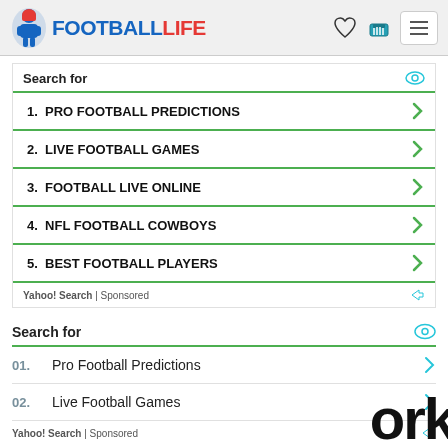FOOTBALL LIFE
Search for
1. PRO FOOTBALL PREDICTIONS
2. LIVE FOOTBALL GAMES
3. FOOTBALL LIVE ONLINE
4. NFL FOOTBALL COWBOYS
5. BEST FOOTBALL PLAYERS
Yahoo! Search | Sponsored
Search for
01. Pro Football Predictions
02. Live Football Games
Yahoo! Search | Sponsored